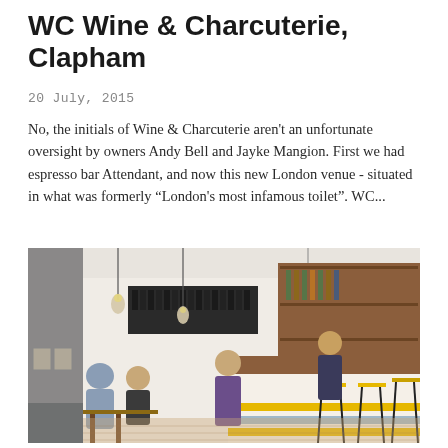WC Wine & Charcuterie, Clapham
20 July, 2015
No, the initials of Wine & Charcuterie aren't an unfortunate oversight by owners Andy Bell and Jayke Mangion. First we had espresso bar Attendant, and now this new London venue - situated in what was formerly "London's most infamous toilet". WC...
[Figure (photo): Interior of WC Wine & Charcuterie restaurant in Clapham showing a bright interior with pendant lights, wooden bar counter, bar stools with yellow and grey striped base, wine cabinet, and patrons seated at tables.]